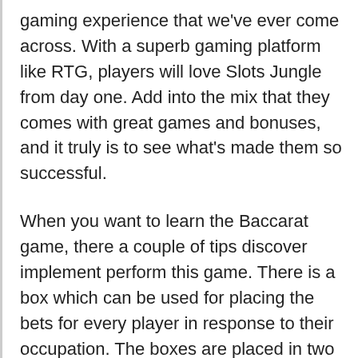gaming experience that we've ever come across. With a superb gaming platform like RTG, players will love Slots Jungle from day one. Add into the mix that they comes with great games and bonuses, and it truly is to see what's made them so successful.
When you want to learn the Baccarat game, there a couple of tips discover implement perform this game. There is a box which can be used for placing the bets for every player in response to their occupation. The boxes are placed in two areas within the table, one box is ready closer and also other one aloof from the counter. The box which is closer if anyone else is who wins the bet and the far of boxes are for the making the bets at